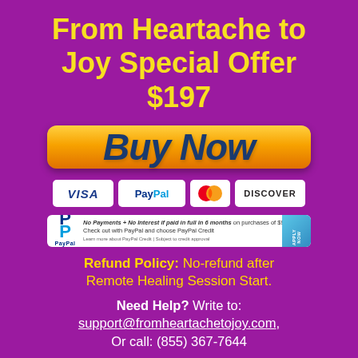From Heartache to Joy Special Offer $197
[Figure (illustration): Orange gradient Buy Now button]
[Figure (illustration): Payment icons: VISA, PayPal, Mastercard, Discover]
[Figure (illustration): PayPal Credit banner: No Payments + No Interest if paid in full in 6 months on purchases of $99+. Check out with PayPal and choose PayPal Credit.]
Refund Policy: No-refund after Remote Healing Session Start.
Need Help? Write to: support@fromheartachetojoy.com, Or call: (855) 367-7644